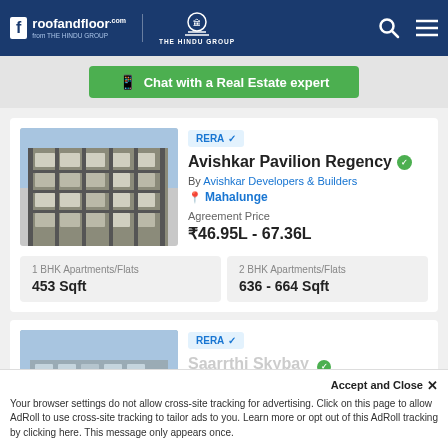roofandfloor.com | THE HINDU GROUP
Chat with a Real Estate expert
[Figure (photo): Exterior photo of Avishkar Pavilion Regency apartment building]
RERA ✓
Avishkar Pavilion Regency
By Avishkar Developers & Builders
Mahalunge
Agreement Price
₹46.95L - 67.36L
1 BHK Apartments/Flats
453 Sqft
2 BHK Apartments/Flats
636 - 664 Sqft
[Figure (photo): Partial exterior photo of second listing Saarrthi Skybay]
RERA ✓
Saarrthi Skybay
Accept and Close ✕
Your browser settings do not allow cross-site tracking for advertising. Click on this page to allow AdRoll to use cross-site tracking to tailor ads to you. Learn more or opt out of this AdRoll tracking by clicking here. This message only appears once.